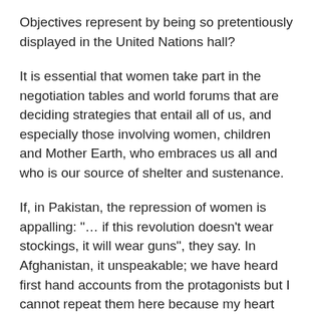Objectives represent by being so pretentiously displayed in the United Nations hall?
It is essential that women take part in the negotiation tables and world forums that are deciding strategies that entail all of us, and especially those involving women, children and Mother Earth, who embraces us all and who is our source of shelter and sustenance.
If, in Pakistan, the repression of women is appalling: "… if this revolution doesn't wear stockings, it will wear guns", they say. In Afghanistan, it unspeakable; we have heard first hand accounts from the protagonists but I cannot repeat them here because my heart fills with pain to the bursting point and my mind refuses to acknowledge such atrocities. Let us not forget that in these countries and such others, war is not so much against other countries